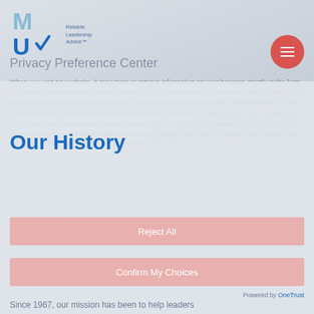[Figure (logo): MU logo with blue stylized letters M and U, with tagline 'Reliable Leadership Advice']
Privacy Preference Center
[Figure (other): Hamburger menu button - circular red/salmon colored button with three horizontal white lines]
When you visit any website, it may store or retrieve information on your browser, mostly in the form of cookies. This information might be about you, your preferences or your device and is mostly used to make the site work as you expect it to. The information does not usually directly identify you, but it can give you a more personalized web experience. Because we respect your right to privacy, you can choose not to allow some types of cookies. Click on the different category headings to find out more and change our default settings. However, blocking some types of cookies may impact your experience of the site and the services we are able to offer.
Our History
Reject All
Confirm My Choices
Powered by OneTrust
Since 1967, our mission has been to help leaders